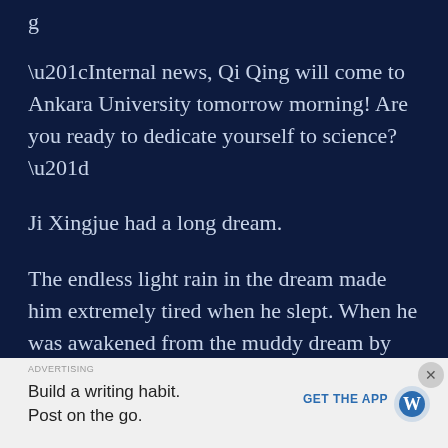“Internal news, Qi Qing will come to Ankara University tomorrow morning! Are you ready to dedicate yourself to science?”
Ji Xingjue had a long dream.
The endless light rain in the dream made him extremely tired when he slept. When he was awakened from the muddy dream by the terminal on his wrist, the fishy smell of rain still lingered on the tip of his nose.
ADVERTISING
Build a writing habit.
Post on the go.
GET THE APP